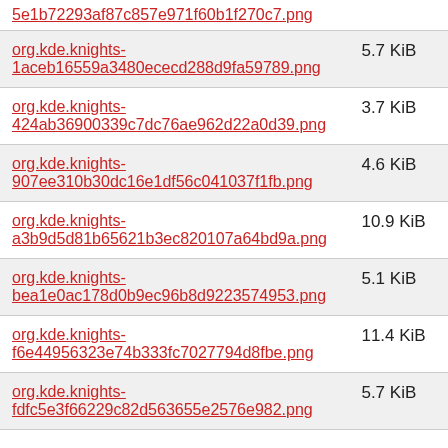| Filename | Size |
| --- | --- |
| 5e1b72293af87c857e971f60b1f270c7.png |  |
| org.kde.knights-1aceb16559a3480ececd288d9fa59789.png | 5.7 KiB |
| org.kde.knights-424ab36900339c7dc76ae962d22a0d39.png | 3.7 KiB |
| org.kde.knights-907ee310b30dc16e1df56c041037f1fb.png | 4.6 KiB |
| org.kde.knights-a3b9d5d81b65621b3ec820107a64bd9a.png | 10.9 KiB |
| org.kde.knights-bea1e0ac178d0b9ec96b8d9223574953.png | 5.1 KiB |
| org.kde.knights-f6e44956323e74b333fc7027794d8fbe.png | 11.4 KiB |
| org.kde.knights-fdfc5e3f66229c82d563655e2576e982.png | 5.7 KiB |